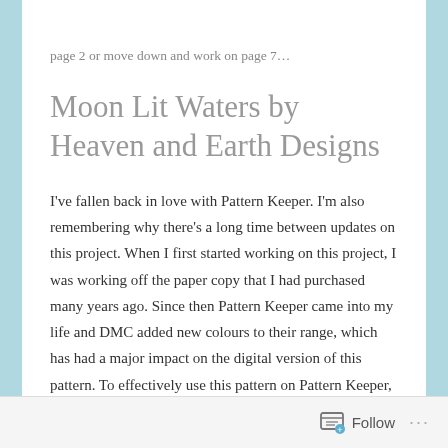page 2 or move down and work on page 7…
Moon Lit Waters by Heaven and Earth Designs
I've fallen back in love with Pattern Keeper. I'm also remembering why there's a long time between updates on this project. When I first started working on this project, I was working off the paper copy that I had purchased many years ago. Since then Pattern Keeper came into my life and DMC added new colours to their range, which has had a major impact on the digital version of this pattern. To effectively use this pattern on Pattern Keeper, I did the right thing by purchasing the digital version of the
Follow …